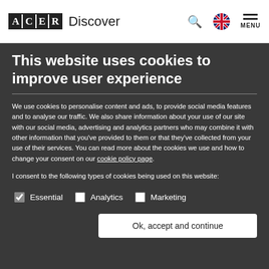ACER Discover
This website uses cookies to improve user experience
We use cookies to personalise content and ads, to provide social media features and to analyse our traffic. We also share information about your use of our site with our social media, advertising and analytics partners who may combine it with other information that you've provided to them or that they've collected from your use of their services. You can read more about the cookies we use and how to change your consent on our cookie policy page.
I consent to the following types of cookies being used on this website:
Essential (checked), Analytics (unchecked), Marketing (unchecked)
Ok, accept and continue